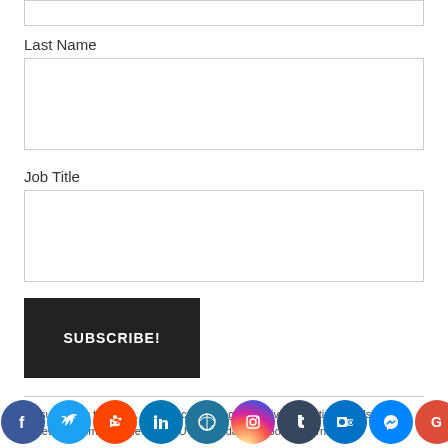Last Name
Job Title
SUBSCRIBE!
By submitting this form, you are consenting to receive marketing emails from: Gateway Journalism Review, SIU Carbondale School of Journalism,
[Figure (infographic): Row of social media icon buttons: Facebook, Twitter, Reddit, LinkedIn, WordPress, Instagram, Tumblr, Outlook, Messenger, Google, Share]